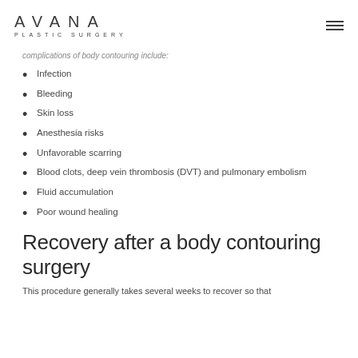AVANA PLASTIC SURGERY
complications of body contouring include:
Infection
Bleeding
Skin loss
Anesthesia risks
Unfavorable scarring
Blood clots, deep vein thrombosis (DVT) and pulmonary embolism
Fluid accumulation
Poor wound healing
Recovery after a body contouring surgery
This procedure generally takes several weeks to recover so that